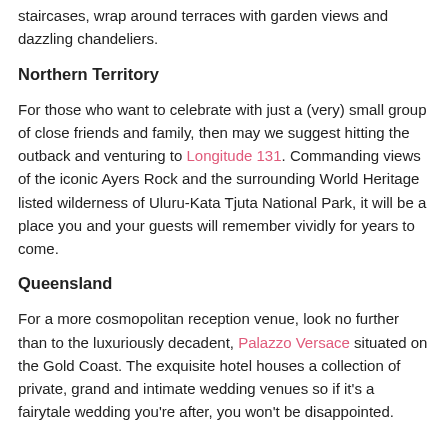staircases, wrap around terraces with garden views and dazzling chandeliers.
Northern Territory
For those who want to celebrate with just a (very) small group of close friends and family, then may we suggest hitting the outback and venturing to Longitude 131. Commanding views of the iconic Ayers Rock and the surrounding World Heritage listed wilderness of Uluru-Kata Tjuta National Park, it will be a place you and your guests will remember vividly for years to come.
Queensland
For a more cosmopolitan reception venue, look no further than to the luxuriously decadent, Palazzo Versace situated on the Gold Coast. The exquisite hotel houses a collection of private, grand and intimate wedding venues so if it's a fairytale wedding you're after, you won't be disappointed.